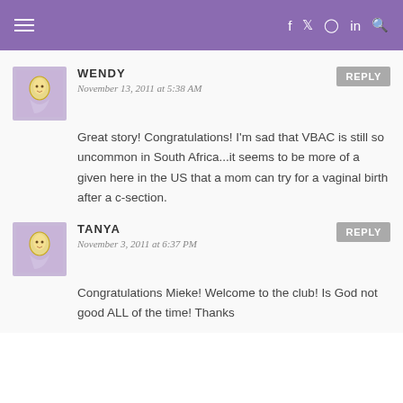≡  f  𝕏  ⊙  in  🔍
WENDY
November 13, 2011 at 5:38 AM
REPLY
Great story! Congratulations! I'm sad that VBAC is still so uncommon in South Africa...it seems to be more of a given here in the US that a mom can try for a vaginal birth after a c-section.
TANYA
November 3, 2011 at 6:37 PM
REPLY
Congratulations Mieke! Welcome to the club! Is God not good ALL of the time! Thanks